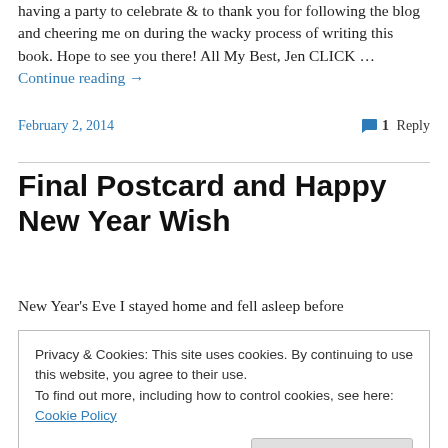having a party to celebrate & to thank you for following the blog and cheering me on during the wacky process of writing this book. Hope to see you there! All My Best, Jen CLICK … Continue reading →
February 2, 2014
1 Reply
Final Postcard and Happy New Year Wish
New Year's Eve I stayed home and fell asleep before
Privacy & Cookies: This site uses cookies. By continuing to use this website, you agree to their use.
To find out more, including how to control cookies, see here: Cookie Policy
Close and accept